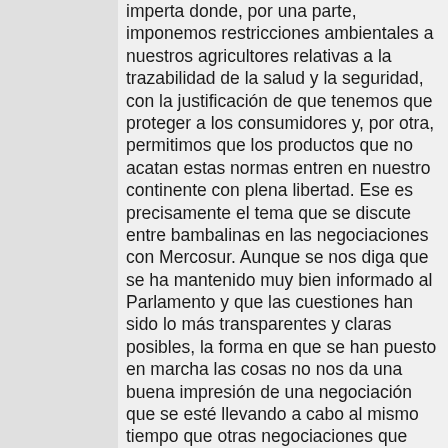imperta donde, por una parte, imponemos restricciones ambientales a nuestros agricultores relativas a la trazabilidad de la salud y la seguridad, con la justificación de que tenemos que proteger a los consumidores y, por otra, permitimos que los productos que no acatan estas normas entren en nuestro continente con plena libertad. Ese es precisamente el tema que se discute entre bambalinas en las negociaciones con Mercosur. Aunque se nos diga que se ha mantenido muy bien informado al Parlamento y que las cuestiones han sido lo más transparentes y claras posibles, la forma en que se han puesto en marcha las cosas no nos da una buena impresión de una negociación que se esté llevando a cabo al mismo tiempo que otras negociaciones que tienen lugar con la OMC. En aras de la